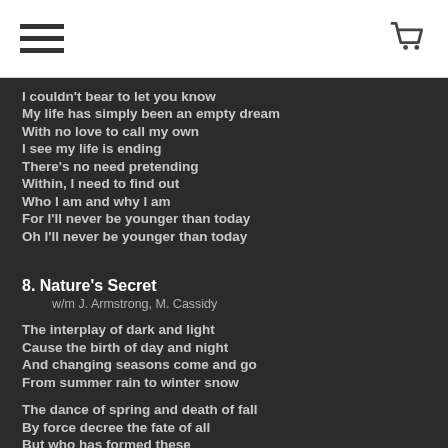[hamburger menu icon] [shopping cart icon]
I couldn't bear to let you know
My life has simply been an empty dream
With no love to call my own
I see my life is ending
There's no need pretending
Within, I need to find out
Who I am and why I am
For I'll never be younger than today
Oh I'll never be younger than today
8. Nature's Secret
w/m J. Armstrong, M. Cassidy
The interplay of dark and light
Cause the birth of day and night
And changing seasons come and go
From summer rain to winter snow
The dance of spring and death of fall
By force decree the fate of all
But who has formed these
Lucent beams